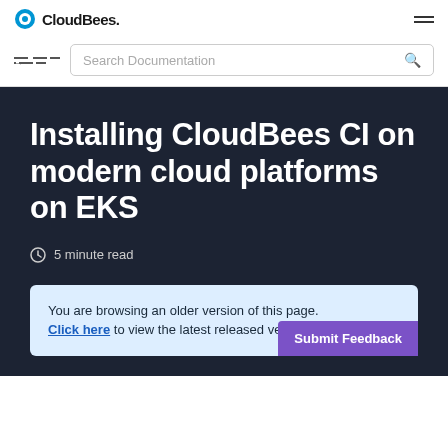CloudBees.
Search Documentation
Installing CloudBees CI on modern cloud platforms on EKS
5 minute read
You are browsing an older version of this page. Click here to view the latest released version.
Submit Feedback